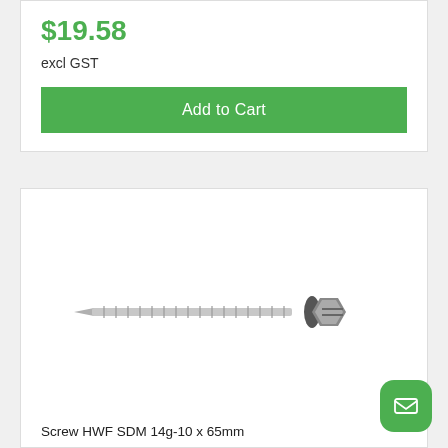$19.58
excl GST
Add to Cart
[Figure (photo): A self-drilling hex head screw with neoprene washer, 14g-10 x 65mm, shown horizontally against white background]
Screw HWF SDM 14g-10 x 65mm